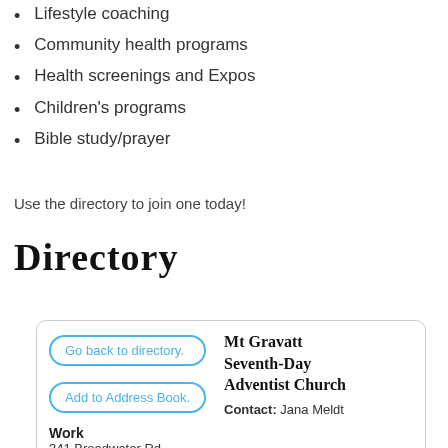Lifestyle coaching
Community health programs
Health screenings and Expos
Children's programs
Bible study/prayer
Use the directory to join one today!
Directory
| Go back to directory. | Mt Gravatt Seventh-Day Adventist Church | Contact: Jana Meldt |
| Add to Address Book. |  |  |
| Work
341 Broadwater Rd
Mansfield QLD 4122 |  |  |